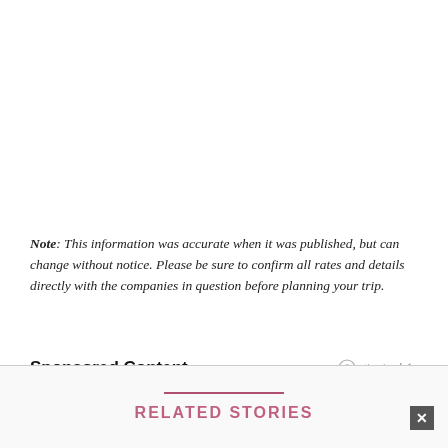Note: This information was accurate when it was published, but can change without notice. Please be sure to confirm all rates and details directly with the companies in question before planning your trip.
Sponsored Content
RELATED STORIES